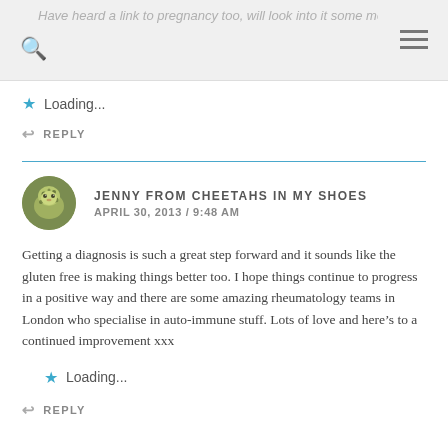Have heard a link to pregnancy too, will look into it some more
Loading...
↩ REPLY
JENNY FROM CHEETAHS IN MY SHOES
APRIL 30, 2013 / 9:48 AM
Getting a diagnosis is such a great step forward and it sounds like the gluten free is making things better too. I hope things continue to progress in a positive way and there are some amazing rheumatology teams in London who specialise in auto-immune stuff. Lots of love and here's to a continued improvement xxx
Loading...
↩ REPLY